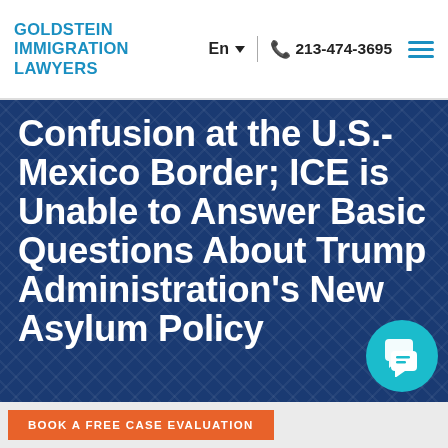GOLDSTEIN IMMIGRATION LAWYERS | En ▼ | 213-474-3695
Confusion at the U.S.-Mexico Border; ICE is Unable to Answer Basic Questions About Trump Administration's New Asylum Policy
[Figure (other): Chat button icon — teal circular button with speech bubble icon]
BOOK A FREE CASE EVALUATION